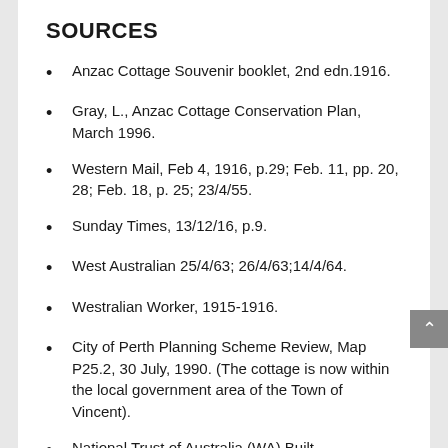SOURCES
Anzac Cottage Souvenir booklet, 2nd edn.1916.
Gray, L., Anzac Cottage Conservation Plan, March 1996.
Western Mail, Feb 4, 1916, p.29; Feb. 11, pp. 20, 28; Feb. 18, p. 25; 23/4/55.
Sunday Times, 13/12/16, p.9.
West Australian 25/4/63; 26/4/63;14/4/64.
Westralian Worker, 1915-1916.
City of Perth Planning Scheme Review, Map P25.2, 30 July, 1990. (The cottage is now within the local government area of the Town of Vincent).
National Trust of Australia (WA) Built